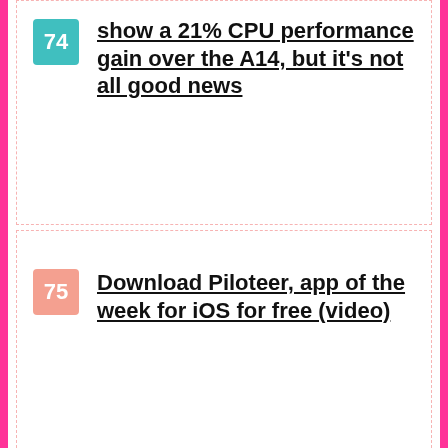74 show a 21% CPU performance gain over the A14, but it's not all good news
75 Download Piloteer, app of the week for iOS for free (video)
76 Apple announces the best mobile games of 2016
77 Google collects fines and now receives a giant in South Korea for monopoly issues